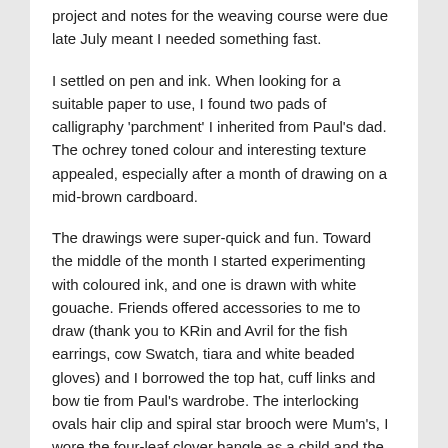project and notes for the weaving course were due late July meant I needed something fast.
I settled on pen and ink. When looking for a suitable paper to use, I found two pads of calligraphy 'parchment' I inherited from Paul's dad. The ochrey toned colour and interesting texture appealed, especially after a month of drawing on a mid-brown cardboard.
The drawings were super-quick and fun. Toward the middle of the month I started experimenting with coloured ink, and one is drawn with white gouache. Friends offered accessories to me to draw (thank you to KRin and Avril for the fish earrings, cow Swatch, tiara and white beaded gloves) and I borrowed the top hat, cuff links and bow tie from Paul's wardrobe. The interlocking ovals hair clip and spiral star brooch were Mum's, I wore the four-leaf clover bangle as a child and the locket was a present from my teens. There are holiday purchases and vintage buys and the straw hat and green bead necklace were made by me.
After calculating how much would be involved in having